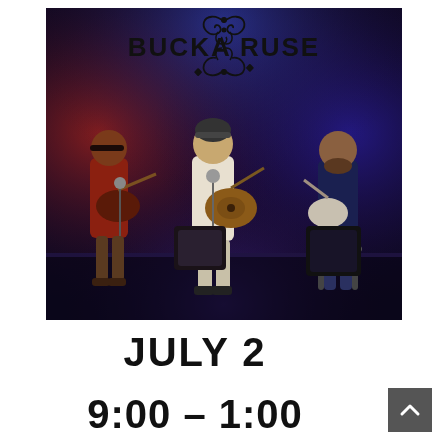[Figure (photo): Three musicians performing on stage with guitars, overlaid with colorful smoke effects in blue and red/orange. Text overlay reads 'BUCKA RUSE' with decorative flourishes above and below.]
JULY 2
9:00 – 1:00